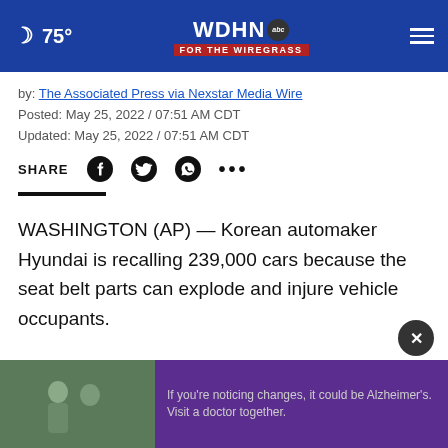🌙 75° | WDHN abc FOR THE WIREGRASS | ☰
by: The Associated Press via Nexstar Media Wire
Posted: May 25, 2022 / 07:51 AM CDT
Updated: May 25, 2022 / 07:51 AM CDT
SHARE [Facebook] [Twitter] [WhatsApp] [...]
WASHINGTON (AP) — Korean automaker Hyundai is recalling 239,000 cars because the seat belt parts can explode and injure vehicle occupants.
Three injuries have been reported, two in the U.S. and one in Singapore.
Gover
[Figure (screenshot): Advertisement overlay: photo of two men talking outdoors with purple panel reading 'If you're noticing changes, it could be Alzheimer's. Visit a doctor together.']